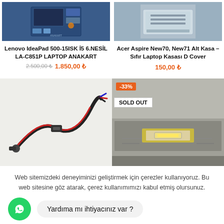[Figure (photo): Lenovo IdeaPad 500-15ISK motherboard photo]
[Figure (photo): Acer Aspire New70/New71 bottom case photo]
Lenovo IdeaPad 500-15ISK İ5 6.NESİL LA-C851P LAPTOP ANAKART
2.500,00 ₺  1.850,00 ₺
Acer Aspire New70, New71 Alt Kasa – Sıfır Laptop Kasası D Cover
150,00 ₺
[Figure (photo): Laptop power cable/adapter cable photo]
[Figure (photo): Laptop LCD screen bottom edge photo with -33% and SOLD OUT badge]
Web sitemizdeki deneyiminizi geliştirmek için çerezler kullanıyoruz. Bu web sitesine göz atarak, çerez kullanımımızı kabul etmiş olursunuz.
Yardıma mı ihtiyacınız var ?